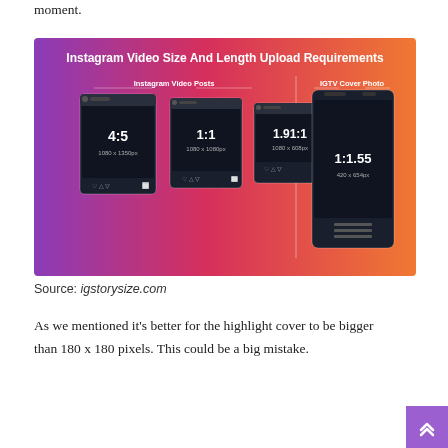moment.
[Figure (infographic): Instagram Video Size And Length Upload Requirements infographic showing Instagram Video Posts (4:5 ratio 1080x1350px, 1:1 ratio 1080x1080px, 1.91:1 ratio 1080x608px) and IGTV Cover Photo (1:1.55 ratio 420x654px) on a gradient purple-pink-orange background]
Source: igstorysize.com
As we mentioned it's better for the highlight cover to be bigger than 180 x 180 pixels. This could be a big mistake.